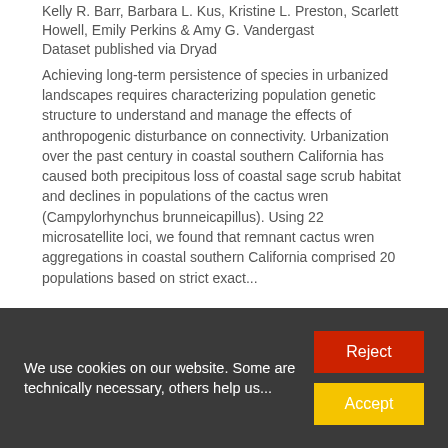Kelly R. Barr, Barbara L. Kus, Kristine L. Preston, Scarlett Howell, Emily Perkins & Amy G. Vandergast
Dataset published via Dryad
Achieving long-term persistence of species in urbanized landscapes requires characterizing population genetic structure to understand and manage the effects of anthropogenic disturbance on connectivity. Urbanization over the past century in coastal southern California has caused both precipitous loss of coastal sage scrub habitat and declines in populations of the cactus wren (Campylorhynchus brunneicapillus). Using 22 microsatellite loci, we found that remnant cactus wren aggregations in coastal southern California comprised 20 populations based on strict exact...
1 citation   342 views   183 downloads
https://doi.org/10.5061/dryad.5b02...   Cite